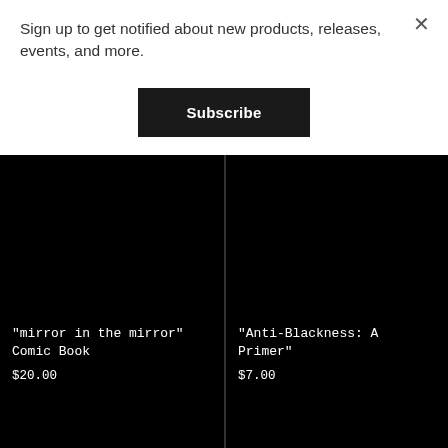Sign up to get notified about new products, releases, events, and more.
Subscribe
"mirror in the mirror" Comic Book
$20.00
"Anti-Blackness: A Primer"
$7.00